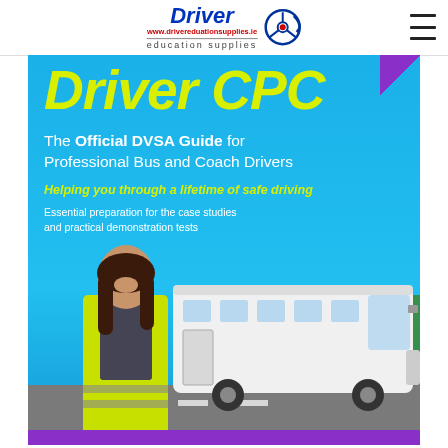[Figure (logo): Driver Education Supplies logo with steering wheel icon and URL www.drivereducationsupplies.ie]
[Figure (photo): Book cover: Driver CPC – The Official DVSA Guide for Professional Bus and Coach Drivers. Tagline: Helping you through a lifetime of safe driving. Subtext: Essential preparation for the case studies and practical demonstration tests. Photo shows a smiling woman in a hi-vis vest standing in front of a white coach bus on a road with trees in background.]